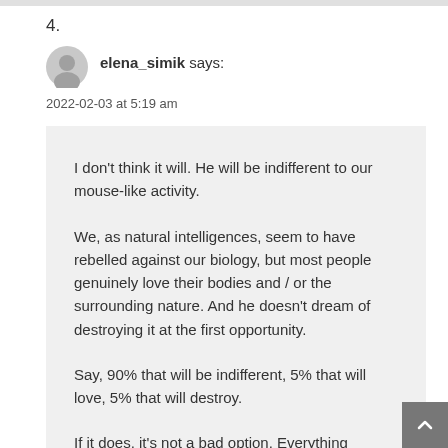4.
elena_simik says:
2022-02-03 at 5:19 am
I don't think it will. He will be indifferent to our mouse-like activity.

We, as natural intelligences, seem to have rebelled against our biology, but most people genuinely love their bodies and / or the surrounding nature. And he doesn't dream of destroying it at the first opportunity.

Say, 90% that will be indifferent, 5% that will love, 5% that will destroy.

If it does, it's not a bad option. Everything